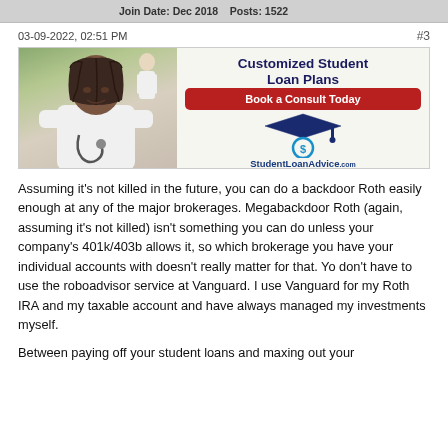Join Date: Dec 2018   Posts: 1522
03-09-2022, 02:51 PM
#3
[Figure (advertisement): Advertisement banner for StudentLoanAdvice.com showing a female doctor with stethoscope. Text reads 'Customized Student Loan Plans', 'Book a Consult Today', 'StudentLoanAdvice.com', 'A White Coat Investor Company']
Assuming it's not killed in the future, you can do a backdoor Roth easily enough at any of the major brokerages. Megabackdoor Roth (again, assuming it's not killed) isn't something you can do unless your company's 401k/403b allows it, so which brokerage you have your individual accounts with doesn't really matter for that. Yo don't have to use the roboadvisor service at Vanguard. I use Vanguard for my Roth IRA and my taxable account and have always managed my investments myself.
Between paying off your student loans and maxing out your